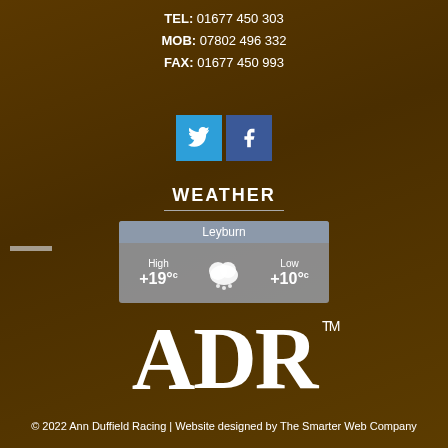TEL: 01677 450 303
MOB: 07802 496 332
FAX: 01677 450 993
[Figure (other): Twitter and Facebook social media icon buttons (blue squares with white bird and f icons)]
WEATHER
[Figure (infographic): Weather widget showing Leyburn location with cloud/rain icon, High +19°c and Low +10°c]
[Figure (logo): ADR trademark logo in large white serif font with TM superscript]
© 2022 Ann Duffield Racing | Website designed by The Smarter Web Company